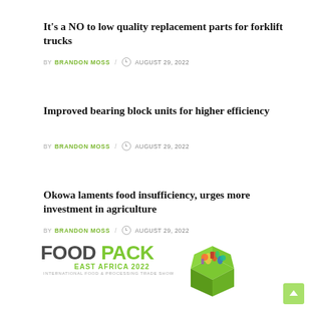It's a NO to low quality replacement parts for forklift trucks
BY BRANDON MOSS / AUGUST 29, 2022
Improved bearing block units for higher efficiency
BY BRANDON MOSS / AUGUST 29, 2022
Okowa laments food insufficiency, urges more investment in agriculture
BY BRANDON MOSS / AUGUST 29, 2022
[Figure (logo): Food Pack East Africa 2022 - International Food & Processing Trade Show logo with green box illustration]